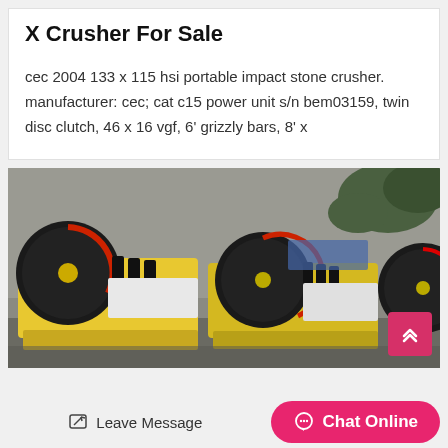X Crusher For Sale
cec 2004 133 x 115 hsi portable impact stone crusher. manufacturer: cec; cat c15 power unit s/n bem03159, twin disc clutch, 46 x 16 vgf, 6' grizzly bars, 8' x
[Figure (photo): Industrial crusher machinery with large black flywheels and yellow housing, photographed outdoors against a concrete wall with vegetation]
Leave Message
Chat Online